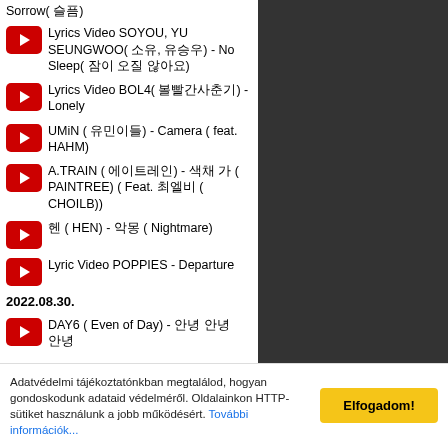Sorrow( 슬픔)
Lyrics Video SOYOU, YU SEUNGWOO( 소유, 유승우) - No Sleep( 잠이 오질 않아요)
Lyrics Video BOL4( 볼빨간사춘기) - Lonely
UMiN ( 유민이들) - Camera ( feat. HAHM)
A.TRAIN ( 에이트레인) - 색채 가 ( PAINTREE) ( Feat. 최엘비 ( CHOILB))
헨 ( HEN) - 악몽 ( Nightmare)
Lyric Video POPPIES - Departure
2022.08.30.
DAY6 ( Even of Day) - 안녕 안녕
Adatvédelmi tájékoztatónkban megtalálod, hogyan gondoskodunk adataid védelméről. Oldalainkon HTTP-sütiket használunk a jobb működésért. További információk...
Elfogadom!